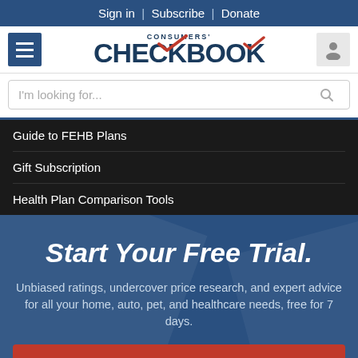Sign in | Subscribe | Donate
[Figure (logo): Consumers' Checkbook logo with red checkmark]
I'm looking for...
Guide to FEHB Plans
Gift Subscription
Health Plan Comparison Tools
Start Your Free Trial.
Unbiased ratings, undercover price research, and expert advice for all your home, auto, pet, and healthcare needs, free for 7 days.
GET STARTED
NO THANKS, MAYBE LATER.